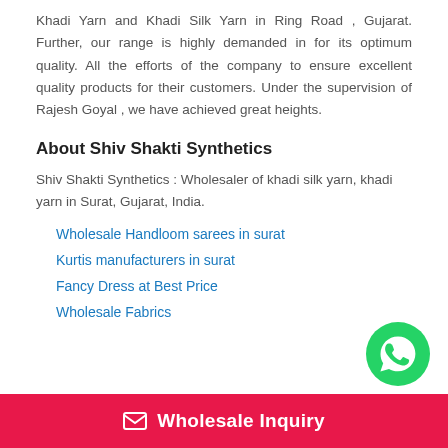Khadi Yarn and Khadi Silk Yarn in Ring Road , Gujarat. Further, our range is highly demanded in for its optimum quality. All the efforts of the company to ensure excellent quality products for their customers. Under the supervision of Rajesh Goyal , we have achieved great heights.
About Shiv Shakti Synthetics
Shiv Shakti Synthetics : Wholesaler of khadi silk yarn, khadi yarn in Surat, Gujarat, India.
Wholesale Handloom sarees in surat
Kurtis manufacturers in surat
Fancy Dress at Best Price
Wholesale Fabrics
[Figure (logo): WhatsApp green circle button with phone handset icon]
Wholesale Inquiry